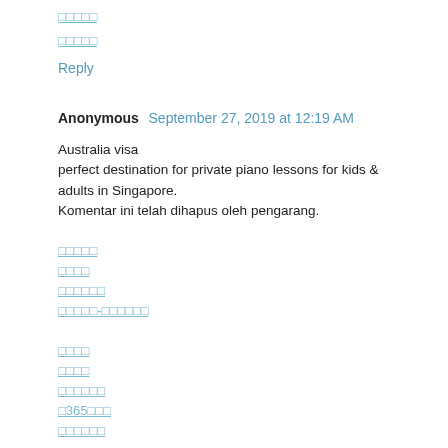□□□□□
□□□□□
Reply
Anonymous  September 27, 2019 at 12:19 AM
Australia visa
perfect destination for private piano lessons for kids & adults in Singapore.
Komentar ini telah dihapus oleh pengarang.
□□□□□
□□□□
□□□□□□
□□□□□-□□□□□□
□□□□
□□□□
□□□□□□
□365□□□
□□□□□□
□□□□□